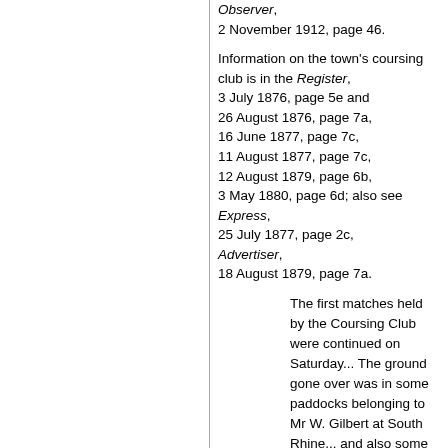Observer, 2 November 1912, page 46.
Information on the town's coursing club is in the Register, 3 July 1876, page 5e and 26 August 1876, page 7a, 16 June 1877, page 7c, 11 August 1877, page 7c, 12 August 1879, page 6b, 3 May 1880, page 6d; also see Express, 25 July 1877, page 2c, Advertiser, 18 August 1879, page 7a.
The first matches held by the Coursing Club were continued on Saturday... The ground gone over was in some paddocks belonging to Mr W. Gilbert at South Rhine... and also some land of Mr Forrest in the same neighbourhood. There was an excellent supply of fur and some excellent courses were run, most being in full sight of the spectators. The hares were shy owing to a great measure of noise made by the onlookers and the manner in which some rode over the ground...
Also see South Australia - Sport - Coursing.